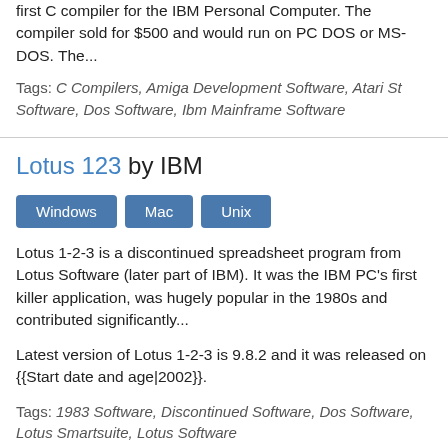first C compiler for the IBM Personal Computer. The compiler sold for $500 and would run on PC DOS or MS-DOS. The...
Tags: C Compilers, Amiga Development Software, Atari St Software, Dos Software, Ibm Mainframe Software
Lotus 123 by IBM
Windows
Mac
Unix
Lotus 1-2-3 is a discontinued spreadsheet program from Lotus Software (later part of IBM). It was the IBM PC's first killer application, was hugely popular in the 1980s and contributed significantly...
Latest version of Lotus 1-2-3 is 9.8.2 and it was released on {{Start date and age|2002}}.
Tags: 1983 Software, Discontinued Software, Dos Software, Lotus Smartsuite, Lotus Software